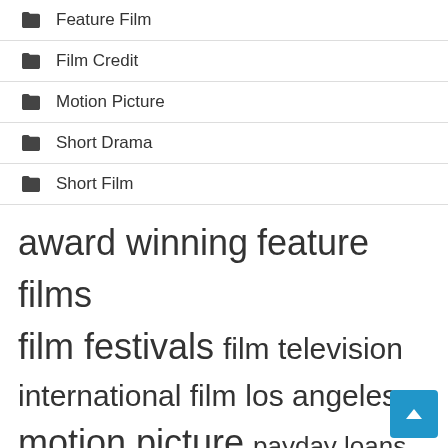Feature Film
Film Credit
Motion Picture
Short Drama
Short Film
award winning  feature films  film festivals  film television  international film  los angeles  motion picture  payday loans  short films  star trek  tells story  tv series